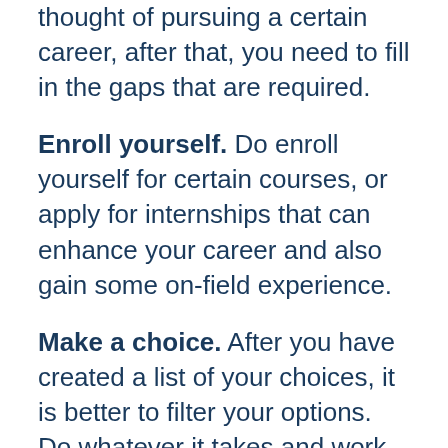thought of pursuing a certain career, after that, you need to fill in the gaps that are required.
Enroll yourself. Do enroll yourself for certain courses, or apply for internships that can enhance your career and also gain some on-field experience.
Make a choice. After you have created a list of your choices, it is better to filter your options. Do whatever it takes and work on your choices.
Choose it. The role that you will choose, you should be confident about